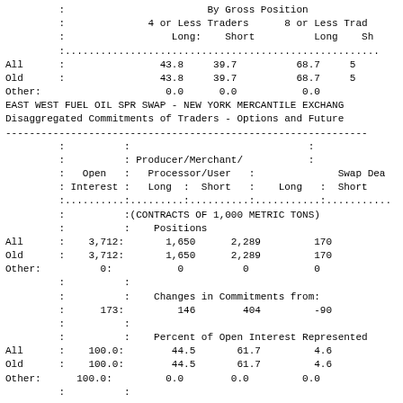|  | By Gross Position: 4 or Less Traders Long | 4 or Less Traders Short | 8 or Less Traders Long | 8 or Less Traders Short |
| --- | --- | --- | --- | --- |
| All | 43.8 | 39.7 | 68.7 | 5 |
| Old | 43.8 | 39.7 | 68.7 | 5 |
| Other | 0.0 | 0.0 | 0.0 |  |
EAST WEST FUEL OIL SPR SWAP - NEW YORK MERCANTILE EXCHANGE
Disaggregated Commitments of Traders - Options and Futures
|  | Open Interest | Producer/Merchant/Processor/User Long | Producer/Merchant/Processor/User Short | Swap Dealers Long | Swap Dealers Short |
| --- | --- | --- | --- | --- | --- |
|  |  | (CONTRACTS OF 1,000 METRIC TONS) |  |  |  |
|  |  | Positions |  |  |  |
| All | 3,712 | 1,650 | 2,289 | 170 |  |
| Old | 3,712 | 1,650 | 2,289 | 170 |  |
| Other | 0 | 0 | 0 | 0 |  |
|  |  | Changes in Commitments from: |  |  |  |
|  | 173 | 146 | 404 | -90 |  |
|  |  | Percent of Open Interest Represented |  |  |  |
| All | 100.0 | 44.5 | 61.7 | 4.6 |  |
| Old | 100.0 | 44.5 | 61.7 | 4.6 |  |
| Other | 100.0 | 0.0 | 0.0 | 0.0 |  |